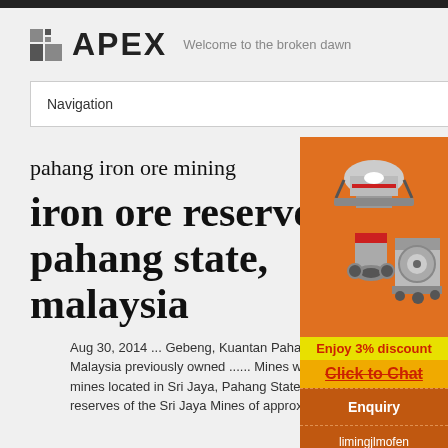APEX — Welcome to the broken dawn
Navigation
pahang iron ore mining
iron ore reserve in pahang state, malaysia
[Figure (illustration): Industrial mining equipment (crushers, mills) shown on orange background with 'Enjoy 3% discount' and 'Click to Chat' call-to-action buttons, plus Enquiry section and limingjlmofen@sina.com email]
Aug 30, 2014 ... Gebeng, Kuantan Pahang Malaysia previously owned ...... Mines which a mines located in Sri Jaya, Pahang State, ..... iron reserves of the Sri Jaya Mines of approximately 96.1 Mt